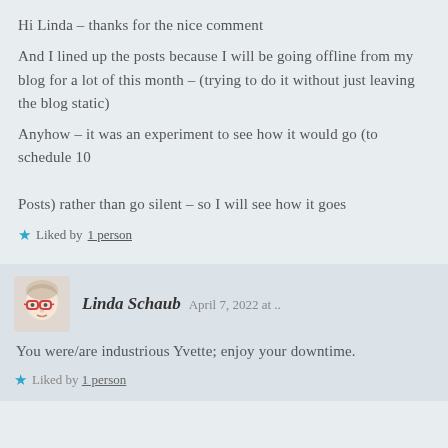Hi Linda – thanks for the nice comment
And I lined up the posts because I will be going offline from my blog for a lot of this month – (trying to do it without just leaving the blog static)
Anyhow – it was an experiment to see how it would go (to schedule 10

Posts) rather than go silent – so I will see how it goes
Liked by 1 person
Linda Schaub   April 7, 2022 at ..
You were/are industrious Yvette; enjoy your downtime.
Liked by 1 person